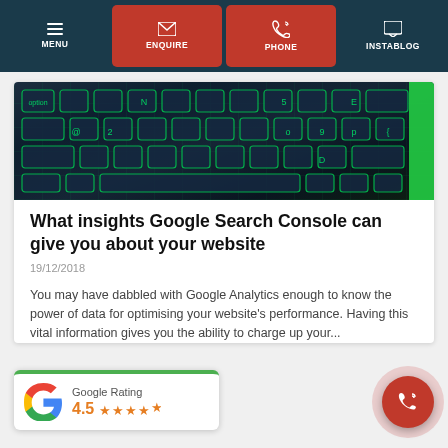MENU | ENQUIRE | PHONE | INSTABLOG
[Figure (photo): Close-up of a dark keyboard with green illuminated keys]
What insights Google Search Console can give you about your website
19/12/2018
You may have dabbled with Google Analytics enough to know the power of data for optimising your website's performance. Having this vital information gives you the ability to charge up your...
Read More
[Figure (logo): Google Rating badge showing 4.5 stars with Google G logo]